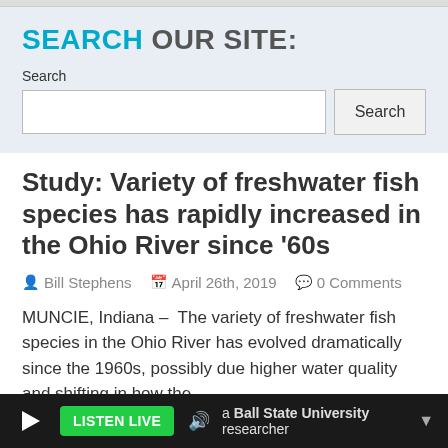SEARCH OUR SITE:
Search
Study: Variety of freshwater fish species has rapidly increased in the Ohio River since ’60s
Bill Stephens   April 26th, 2019   0 Comments
MUNCIE, Indiana –  The variety of freshwater fish species in the Ohio River has evolved dramatically since the 1960s, possibly due higher water quality and shifting in how the
LISTEN LIVE   Ball State University researcher